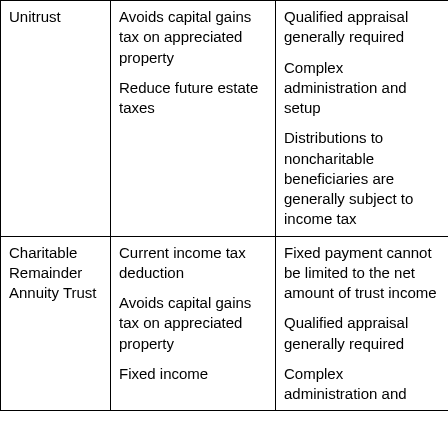| Unitrust | Avoids capital gains tax on appreciated property

Reduce future estate taxes | Qualified appraisal generally required

Complex administration and setup

Distributions to noncharitable beneficiaries are generally subject to income tax |
| Charitable Remainder Annuity Trust | Current income tax deduction

Avoids capital gains tax on appreciated property

Fixed income | Fixed payment cannot be limited to the net amount of trust income

Qualified appraisal generally required

Complex administration and |